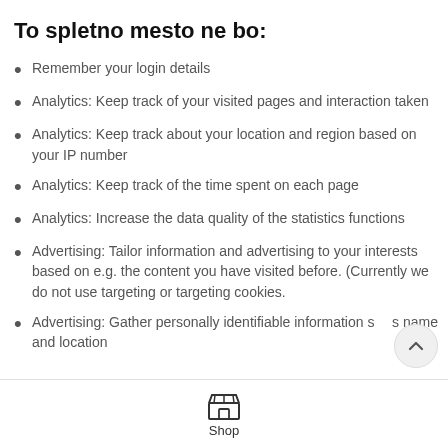To spletno mesto ne bo:
Remember your login details
Analytics: Keep track of your visited pages and interaction taken
Analytics: Keep track about your location and region based on your IP number
Analytics: Keep track of the time spent on each page
Analytics: Increase the data quality of the statistics functions
Advertising: Tailor information and advertising to your interests based on e.g. the content you have visited before. (Currently we do not use targeting or targeting cookies.
Advertising: Gather personally identifiable information s... name and location
Shop